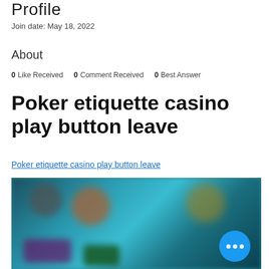Profile
Join date: May 18, 2022
About
0 Like Received   0 Comment Received   0 Best Answer
Poker etiquette casino play button leave
Poker etiquette casino play button leave
[Figure (photo): Blurred screenshot of a casino/poker game interface with colorful characters and a blue circular more-options button in the bottom right corner]